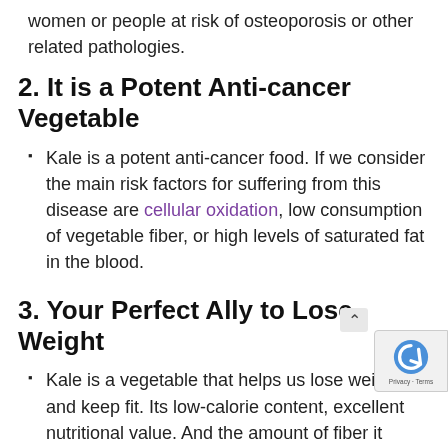women or people at risk of osteoporosis or other related pathologies.
2. It is a Potent Anti-cancer Vegetable
Kale is a potent anti-cancer food. If we consider the main risk factors for suffering from this disease are cellular oxidation, low consumption of vegetable fiber, or high levels of saturated fat in the blood.
3. Your Perfect Ally to Lose Weight
Kale is a vegetable that helps us lose weight and keep fit. Its low-calorie content, excellent nutritional value. And the amount of fiber it provides helps us better digest a and prevent constipation.
4. Contains a large amount of Vitamin K,